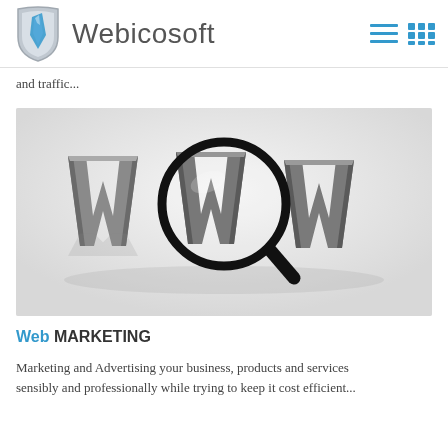Webicosoft
and traffic...
[Figure (photo): 3D rendering of the letters 'www' in gray with a magnifying glass focused on the middle 'W', on a light gray reflective surface]
Web MARKETING
Marketing and Advertising your business, products and services sensibly and professionally while trying to keep it cost efficient...